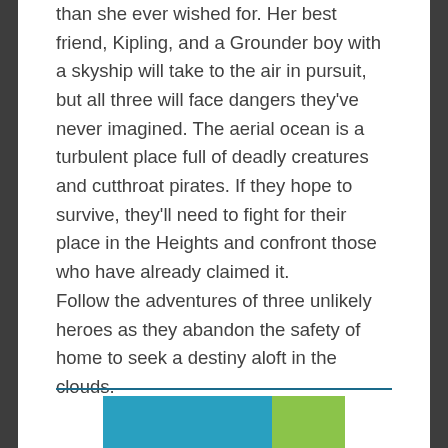than she ever wished for. Her best friend, Kipling, and a Grounder boy with a skyship will take to the air in pursuit, but all three will face dangers they've never imagined. The aerial ocean is a turbulent place full of deadly creatures and cutthroat pirates. If they hope to survive, they'll need to fight for their place in the Heights and confront those who have already claimed it.
Follow the adventures of three unlikely heroes as they abandon the safety of home to seek a destiny aloft in the clouds.
[Figure (illustration): Bottom portion of a book cover image showing blue and green colors, partially cropped at the bottom of the page]